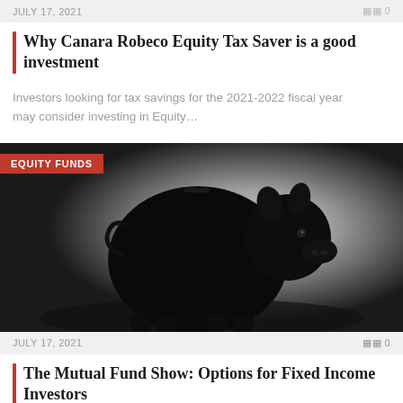JULY 17, 2021   0
Why Canara Robeco Equity Tax Saver is a good investment
Investors looking for tax savings for the 2021-2022 fiscal year may consider investing in Equity...
[Figure (photo): Dark silhouette of a piggy bank against a grey gradient background. Red badge overlay reads EQUITY FUNDS.]
JULY 17, 2021   0
The Mutual Fund Show: Options for Fixed Income Investors